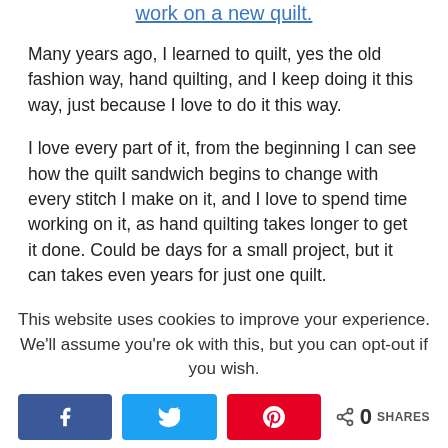work on a new quilt.
Many years ago, I learned to quilt, yes the old fashion way, hand quilting, and I keep doing it this way, just because I love to do it this way.
I love every part of it, from the beginning I can see how the quilt sandwich begins to change with every stitch I make on it, and I love to spend time working on it, as hand quilting takes longer to get it done. Could be days for a small project, but it can takes even years for just one quilt.
This time as you know, I'm working on my Paper
This website uses cookies to improve your experience. We'll assume you're ok with this, but you can opt-out if you wish.
0 SHARES